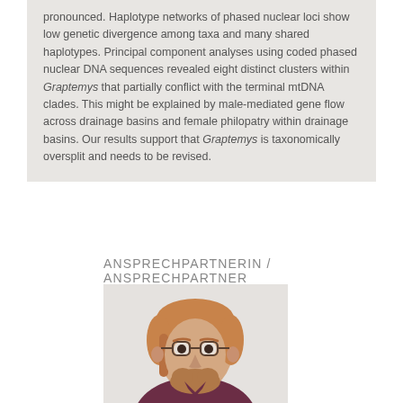pronounced. Haplotype networks of phased nuclear loci show low genetic divergence among taxa and many shared haplotypes. Principal component analyses using coded phased nuclear DNA sequences revealed eight distinct clusters within Graptemys that partially conflict with the terminal mtDNA clades. This might be explained by male-mediated gene flow across drainage basins and female philopatry within drainage basins. Our results support that Graptemys is taxonomically oversplit and needs to be revised.
ANSPRECHPARTNERIN / ANSPRECHPARTNER
[Figure (photo): Portrait photo of a young man with reddish-blond hair, glasses, and a beard, wearing a dark maroon/purple collared shirt, with a light background]